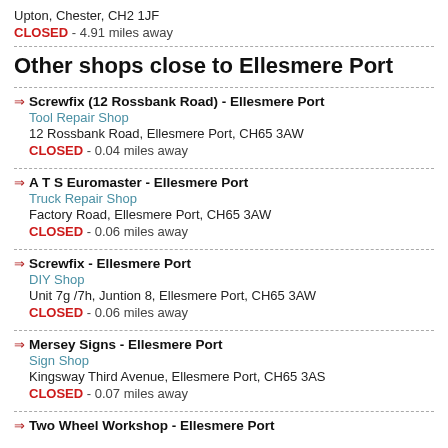Upton, Chester, CH2 1JF
CLOSED - 4.91 miles away
Other shops close to Ellesmere Port
Screwfix (12 Rossbank Road) - Ellesmere Port | Tool Repair Shop | 12 Rossbank Road, Ellesmere Port, CH65 3AW | CLOSED - 0.04 miles away
A T S Euromaster - Ellesmere Port | Truck Repair Shop | Factory Road, Ellesmere Port, CH65 3AW | CLOSED - 0.06 miles away
Screwfix - Ellesmere Port | DIY Shop | Unit 7g /7h, Juntion 8, Ellesmere Port, CH65 3AW | CLOSED - 0.06 miles away
Mersey Signs - Ellesmere Port | Sign Shop | Kingsway Third Avenue, Ellesmere Port, CH65 3AS | CLOSED - 0.07 miles away
Two Wheel Workshop - Ellesmere Port